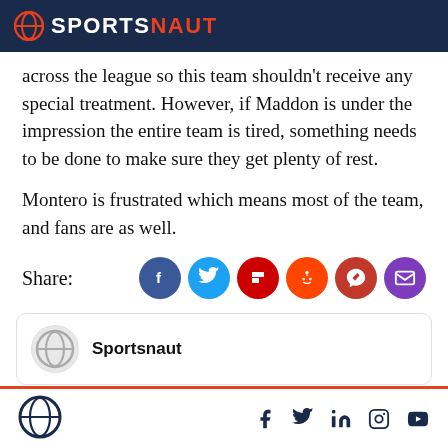SPORTSNAUT
across the league so this team shouldn't receive any special treatment. However, if Maddon is under the impression the entire team is tired, something needs to be done to make sure they get plenty of rest.
Montero is frustrated which means most of the team, and fans are as well.
Share:
[Figure (infographic): Social share buttons: Facebook, Twitter, Flipboard, Reddit, MSN, Email]
[Figure (infographic): Author box with Sportsnaut logo avatar and name 'Sportsnaut']
Sportsnaut logo and social media icons: Facebook, Twitter, LinkedIn, Instagram, YouTube